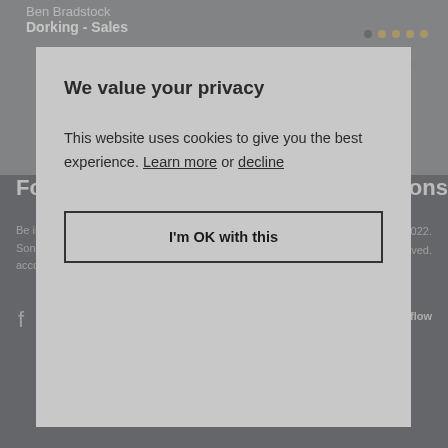Ben Bradstock
Dorking - Sales
Read more...
Follow Us
Write & Sons
Be in the loop with all things White & Sons, following our social media accounts.
© Copyright 2022. All Rights Reserved.
Powered by Homeflow
We value your privacy
This website uses cookies to give you the best experience. Learn more or decline
I'm OK with this